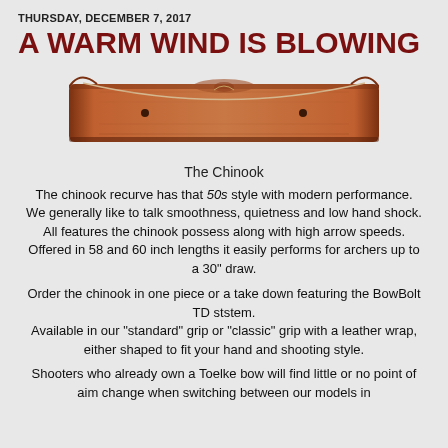THURSDAY, DECEMBER 7, 2017
A WARM WIND IS BLOWING
[Figure (illustration): A recurve bow (The Chinook) shown horizontally, brown/copper colored with a light-colored string and distinctive recurve limb tips.]
The Chinook
The chinook recurve has that 50s style with modern performance.  We generally like to talk smoothness, quietness and low hand shock. All features the chinook possess along with high arrow speeds. Offered in 58 and 60 inch lengths it easily performs for archers up to a 30" draw.
Order the chinook in one piece or a take down featuring the BowBolt TD ststem.
Available in our "standard" grip or "classic" grip with a leather wrap, either shaped to fit your hand and shooting style.
Shooters who already own a Toelke bow will find little or no point of aim change when switching between our models in